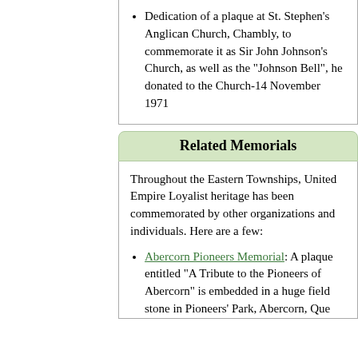Dedication of a plaque at St. Stephen's Anglican Church, Chambly, to commemorate it as Sir John Johnson's Church, as well as the "Johnson Bell", he donated to the Church-14 November 1971
Related Memorials
Throughout the Eastern Townships, United Empire Loyalist heritage has been commemorated by other organizations and individuals. Here are a few:
Abercorn Pioneers Memorial: A plaque entitled "A Tribute to the Pioneers of Abercorn" is embedded in a huge field stone in Pioneers' Park, Abercorn, Quebec.